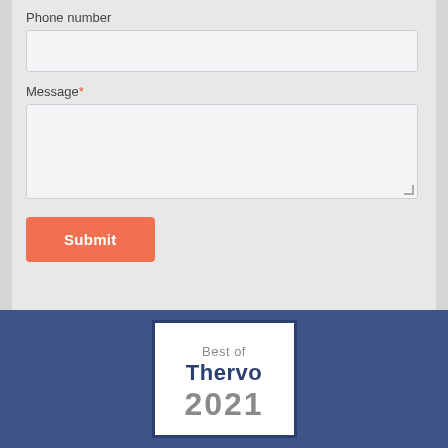Phone number
Message*
Submit
[Figure (logo): Best of Thervo 2021 badge, white background with dark blue border, gray 'Best of' text, dark blue bold 'Thervo' text, gray '2021' large text]